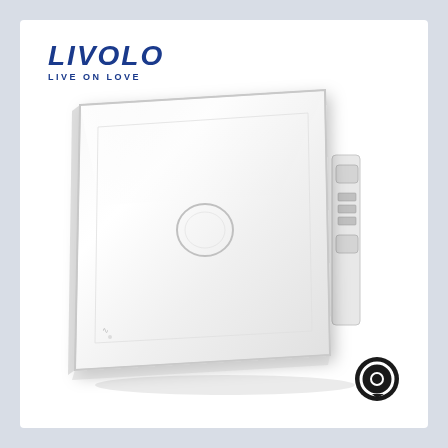[Figure (logo): LIVOLO brand logo with tagline LIVE ON LOVE in dark blue italic bold text]
[Figure (photo): Livolo white glass touch wall switch, single gang, with circular touch button in center, white crystal glass panel, showing side mounting clips and wiring terminals, product photo on white background]